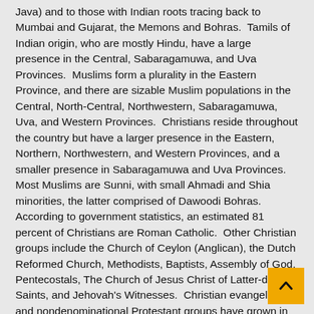Java) and to those with Indian roots tracing back to Mumbai and Gujarat, the Memons and Bohras.  Tamils of Indian origin, who are mostly Hindu, have a large presence in the Central, Sabaragamuwa, and Uva Provinces.  Muslims form a plurality in the Eastern Province, and there are sizable Muslim populations in the Central, North-Central, Northwestern, Sabaragamuwa, Uva, and Western Provinces.  Christians reside throughout the country but have a larger presence in the Eastern, Northern, Northwestern, and Western Provinces, and a smaller presence in Sabaragamuwa and Uva Provinces.
Most Muslims are Sunni, with small Ahmadi and Shia minorities, the latter comprised of Dawoodi Bohras.  According to government statistics, an estimated 81 percent of Christians are Roman Catholic.  Other Christian groups include the Church of Ceylon (Anglican), the Dutch Reformed Church, Methodists, Baptists, Assembly of God, Pentecostals, The Church of Jesus Christ of Latter-day Saints, and Jehovah's Witnesses.  Christian evangelical and nondenominational Protestant groups have grown in recent years, although there are no reliable estimates of their numbers.  According to the government, membership remains low compared with the larger Christian community.  There is a small Jewish population living in different parts of the country.